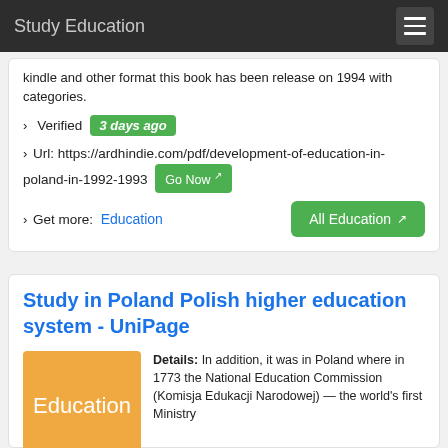Study Education
kindle and other format this book has been release on 1994 with categories.
› Verified  3 days ago
› Url: https://ardhindie.com/pdf/development-of-education-in-poland-in-1992-1993  Go Now
› Get more:  Education   All Education
Study in Poland Polish higher education system - UniPage
[Figure (illustration): Orange thumbnail image with the word 'Education' in white text]
Details: In addition, it was in Poland where in 1773 the National Education Commission (Komisja Edukacji Narodowej) — the world's first Ministry of Education was created. Rapid development. Poland is in the top 10 European countries by the number of university